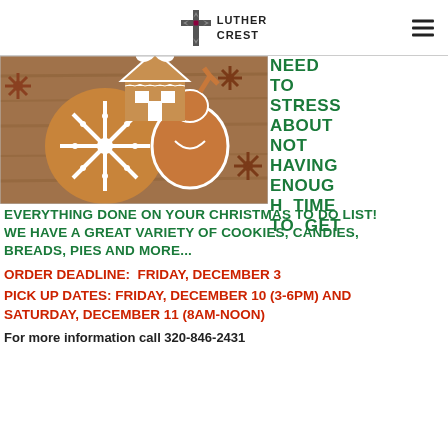Luther Crest
[Figure (photo): Photo of decorated Christmas gingerbread cookies including a snowflake, reindeer, and house shape with white icing on a wooden surface with star anise spices]
NEED TO STRESS ABOUT NOT HAVING ENOUGH TIME TO GET EVERYTHING DONE ON YOUR CHRISTMAS TO DO LIST! WE HAVE A GREAT VARIETY OF COOKIES, CANDIES, BREADS, PIES AND MORE...
ORDER DEADLINE:  FRIDAY, DECEMBER 3
PICK UP DATES: FRIDAY, DECEMBER 10 (3-6PM) and SATURDAY, DECEMBER 11 (8AM-NOON)
For more information call 320-846-2431